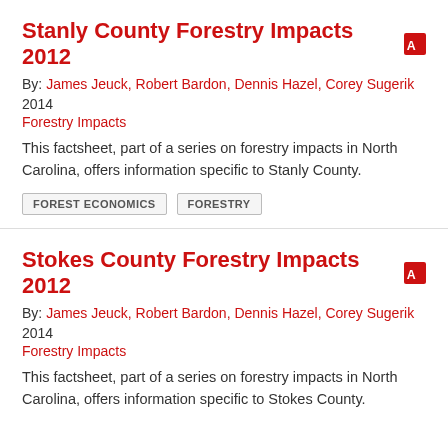Stanly County Forestry Impacts 2012
By: James Jeuck, Robert Bardon, Dennis Hazel, Corey Sugerik
2014
Forestry Impacts
This factsheet, part of a series on forestry impacts in North Carolina, offers information specific to Stanly County.
FOREST ECONOMICS
FORESTRY
Stokes County Forestry Impacts 2012
By: James Jeuck, Robert Bardon, Dennis Hazel, Corey Sugerik
2014
Forestry Impacts
This factsheet, part of a series on forestry impacts in North Carolina, offers information specific to Stokes County.